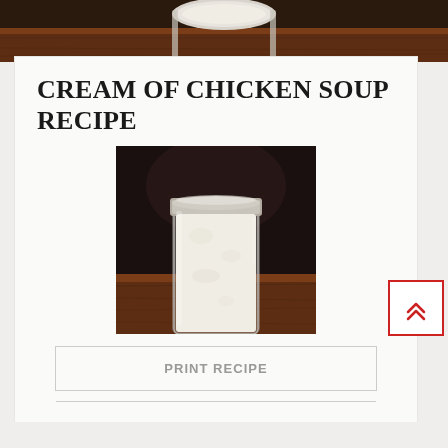[Figure (photo): Partial top view of a glass jar filled with creamy white soup on a wooden surface, cropped at the top of the page]
CREAM OF CHICKEN SOUP RECIPE
[Figure (photo): A mason jar filled with creamy cream of chicken soup on a dark wooden surface with a dark background]
PRINT RECIPE